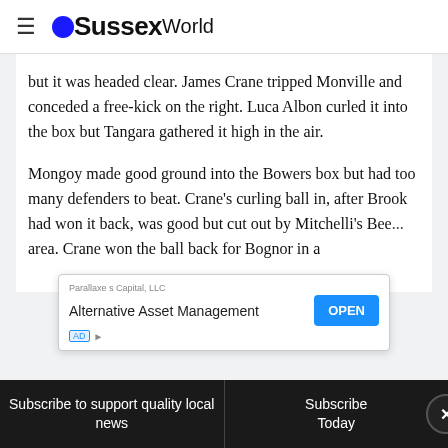OSussexWorld
but it was headed clear. James Crane tripped Monville and conceded a free-kick on the right. Luca Albon curled it into the box but Tangara gathered it high in the air.
Mongoy made good ground into the Bowers box but had too many defenders to beat. Crane's curling ball in, after Brook had won it back, was good but cut out by Mitchelli's Bee... area. Crane won the ball back for Bognor in a
[Figure (other): Advertisement overlay: Parallaxe s Capital, LLC - Alternative Asset Management with OPEN button]
Subscribe to support quality local news | Subscribe Today